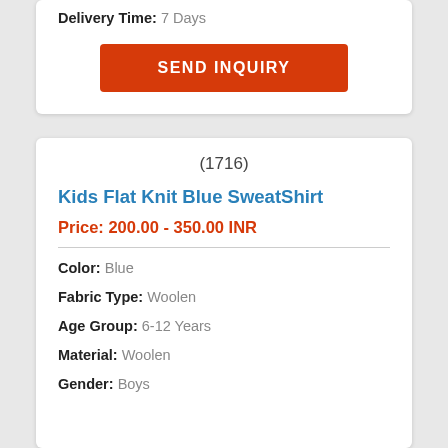Delivery Time: 7 Days
SEND INQUIRY
(1716)
Kids Flat Knit Blue SweatShirt
Price: 200.00 - 350.00 INR
Color: Blue
Fabric Type: Woolen
Age Group: 6-12 Years
Material: Woolen
Gender: Boys